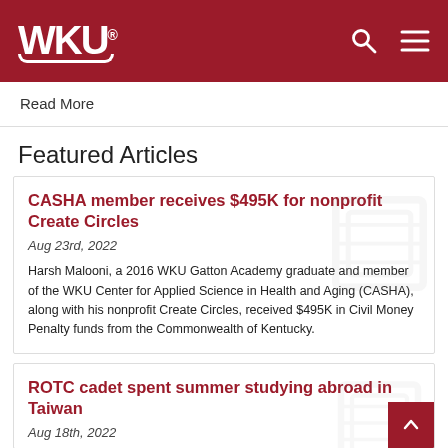WKU
Read More
Featured Articles
CASHA member receives $495K for nonprofit Create Circles
Aug 23rd, 2022
Harsh Malooni, a 2016 WKU Gatton Academy graduate and member of the WKU Center for Applied Science in Health and Aging (CASHA), along with his nonprofit Create Circles, received $495K in Civil Money Penalty funds from the Commonwealth of Kentucky.
ROTC cadet spent summer studying abroad in Taiwan
Aug 18th, 2022